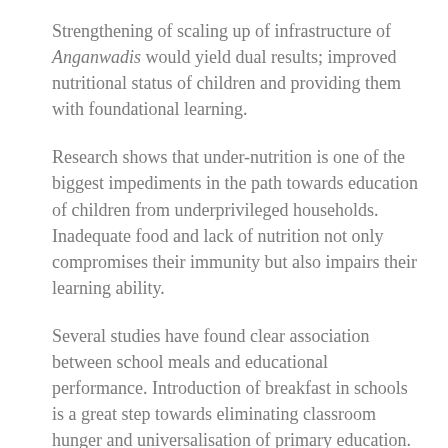Strengthening of scaling up of infrastructure of Anganwadis would yield dual results; improved nutritional status of children and providing them with foundational learning.
Research shows that under-nutrition is one of the biggest impediments in the path towards education of children from underprivileged households. Inadequate food and lack of nutrition not only compromises their immunity but also impairs their learning ability.
Several studies have found clear association between school meals and educational performance. Introduction of breakfast in schools is a great step towards eliminating classroom hunger and universalisation of primary education.